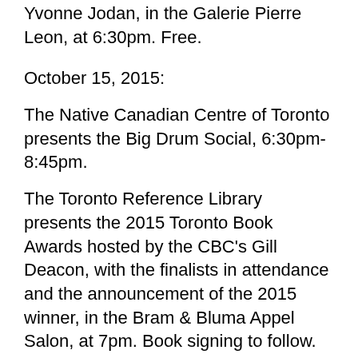Yvonne Jodan, in the Galerie Pierre Leon, at 6:30pm. Free.
October 15, 2015:
The Native Canadian Centre of Toronto presents the Big Drum Social, 6:30pm-8:45pm.
The Toronto Reference Library presents the 2015 Toronto Book Awards hosted by the CBC's Gill Deacon, with the finalists in attendance and the announcement of the 2015 winner, in the Bram & Bluma Appel Salon, at 7pm. Book signing to follow.
October 16, 2015:
The Gardiner Museum presents a special opening night celebration for Kent Monkman: The Rise and Fall of Civilization, presented in collaboration with imagineNATIVE Film + Media Arts Festival and Soundstreams Canada, starting at 4pm. Free with half-